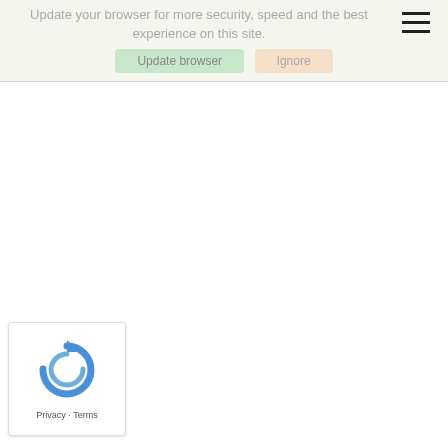Update your browser for more security, speed and the best experience on this site.
Update browser   Ignore
[Figure (logo): reCAPTCHA logo with circular arrow icon, Privacy - Terms text below]
Privacy · Terms